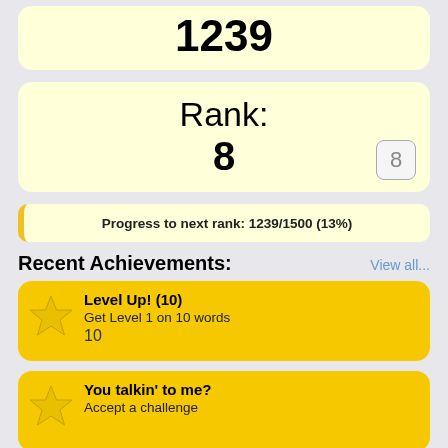1239
Rank:
8
Progress to next rank: 1239/1500 (13%)
Recent Achievements:
View all...
Level Up! (10)
Get Level 1 on 10 words
10
You talkin' to me?
Accept a challenge